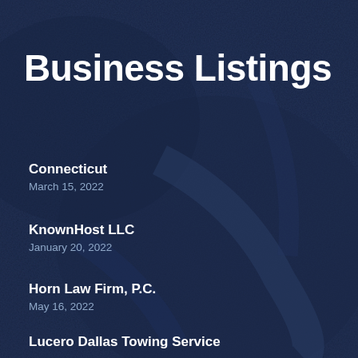Business Listings
Connecticut
March 15, 2022
KnownHost LLC
January 20, 2022
Horn Law Firm, P.C.
May 16, 2022
Lucero Dallas Towing Service